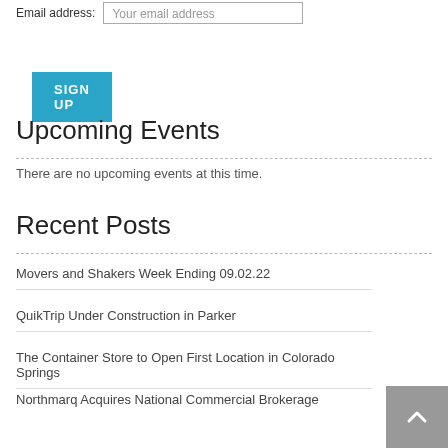Email address: Your email address
SIGN UP
Upcoming Events
There are no upcoming events at this time.
Recent Posts
Movers and Shakers Week Ending 09.02.22
QuikTrip Under Construction in Parker
The Container Store to Open First Location in Colorado Springs
Northmarq Acquires National Commercial Brokerage